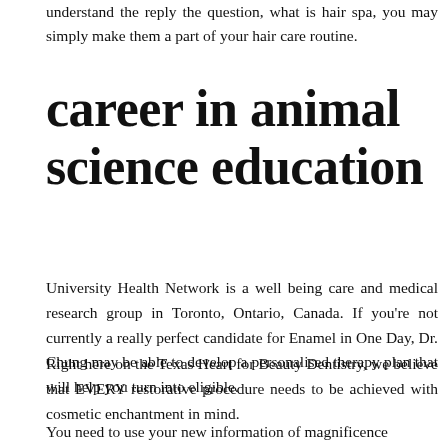understand the reply the question, what is hair spa, you may simply make them a part of your hair care routine.
career in animal science education
University Health Network is a well being care and medical research group in Toronto, Ontario, Canada. If you’re not currently a really perfect candidate for Enamel in One Day, Dr. Chung may be able to develop a personalised therapy plan that will help you turn into eligible.
Right here on the Texas Heart for Beauty Dentistry, we believe that EVERY restorative procedure needs to be achieved with cosmetic enchantment in mind.
You need to use your new information of magnificence